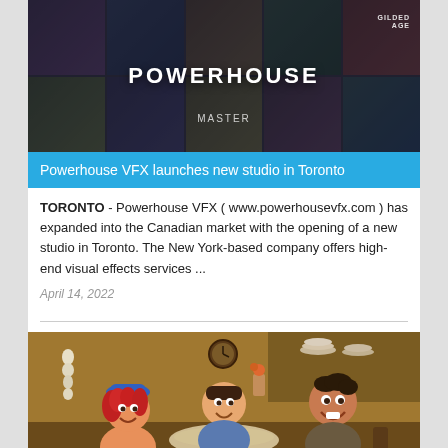[Figure (photo): Dark collage of movie/TV show posters with the word POWERHOUSE displayed prominently in white text over a grid of entertainment thumbnails including Gilded Age and other shows]
Powerhouse VFX launches new studio in Toronto
TORONTO - Powerhouse VFX ( www.powerhousevfx.com ) has expanded into the Canadian market with the opening of a new studio in Toronto. The New York-based company offers high-end visual effects services ...
April 14, 2022
[Figure (photo): Animated movie still showing three cartoon characters seated at a table with a kitchen background, featuring a girl with red curly hair and a blue hat, and two boys]